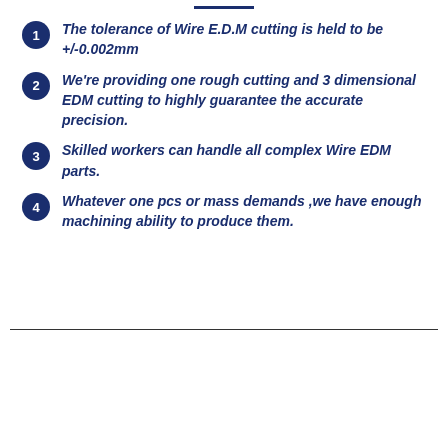The tolerance of Wire E.D.M cutting is held to be +/-0.002mm
We're providing one rough cutting and 3 dimensional EDM cutting to highly guarantee the accurate precision.
Skilled workers can handle all complex Wire EDM parts.
Whatever one pcs or mass demands ,we have enough machining ability to produce them.